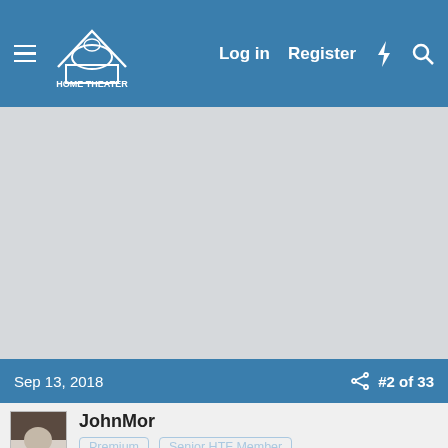Home Theater Forum — Log in | Register
[Figure (screenshot): Large grey content/post area, blank]
Sep 13, 2018
#2 of 33
[Figure (photo): User avatar photo for JohnMor]
JohnMor
Premium
Senior HTF Member